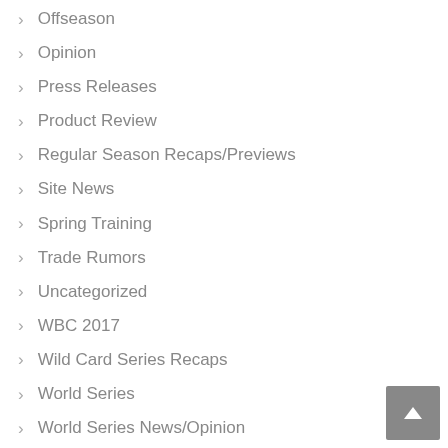Offseason
Opinion
Press Releases
Product Review
Regular Season Recaps/Previews
Site News
Spring Training
Trade Rumors
Uncategorized
WBC 2017
Wild Card Series Recaps
World Series
World Series News/Opinion
World Series Previews/Recaps